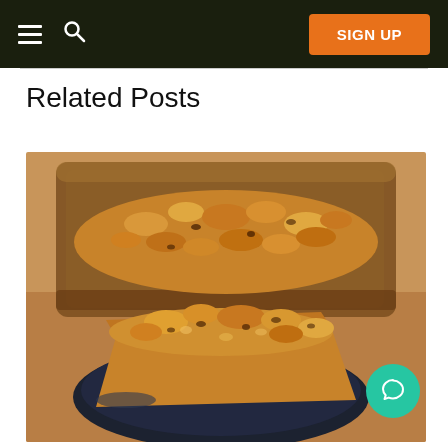Navigation bar with hamburger menu, search icon, and SIGN UP button
Related Posts
[Figure (photo): A baked crumble or coffee cake in a glass casserole dish in the background, with a serving on a dark plate in the foreground, on a wooden surface.]